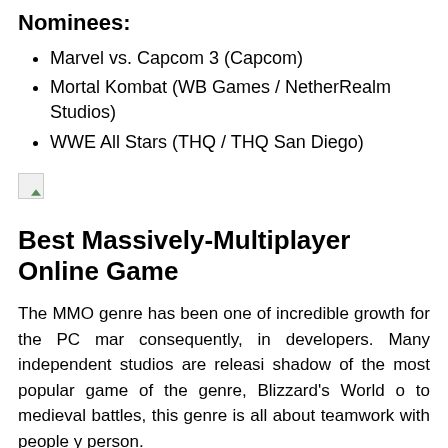Nominees:
Marvel vs. Capcom 3 (Capcom)
Mortal Kombat (WB Games / NetherRealm Studios)
WWE All Stars (THQ / THQ San Diego)
[Figure (other): Broken image placeholder]
Best Massively-Multiplayer Online Game
The MMO genre has been one of incredible growth for the PC mar consequently, in developers. Many independent studios are releasi shadow of the most popular game of the genre, Blizzard's World o to medieval battles, this genre is all about teamwork with people y person.
And The Winner Is...
[Figure (other): Broken image placeholder (Gam...)]
Star Wars: The Old Republic